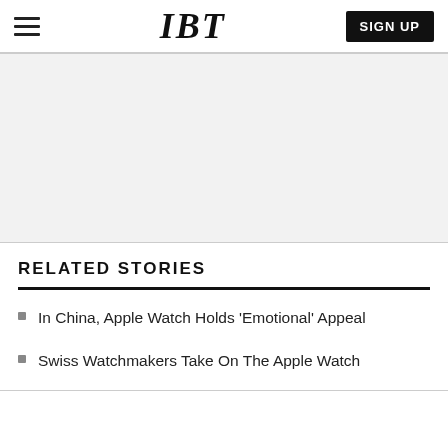IBT | SIGN UP
[Figure (other): Gray advertisement placeholder area]
RELATED STORIES
In China, Apple Watch Holds 'Emotional' Appeal
Swiss Watchmakers Take On The Apple Watch